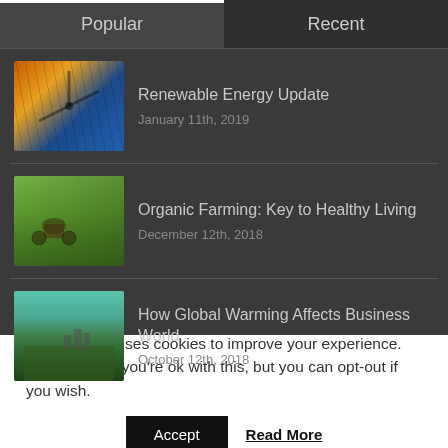Popular
Recent
[Figure (photo): Thumbnail image for Renewable Energy Update article - wind turbines and solar panels with orange and blue tones]
Renewable Energy Update
January 11th, 2019
[Figure (photo): Thumbnail image for Organic Farming article - green farm field with tractor and worker]
Organic Farming: Key to Healthy Living
December 12th, 2018
[Figure (photo): Thumbnail image for How Global Warming Affects Business World - green field with city skyline under teal sky]
How Global Warming Affects Business World
October 12th, 2018
This website uses cookies to improve your experience. We'll assume you're ok with this, but you can opt-out if you wish.
Accept
Read More